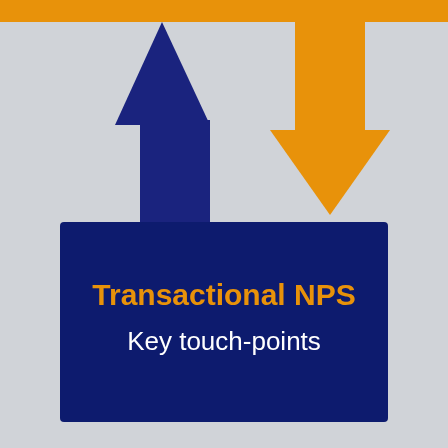[Figure (infographic): Infographic showing a dark navy blue rectangle in the center with orange bold text 'Transactional NPS' and white text 'Key touch-points' below it. A large dark navy blue upward arrow is on the left side, and a large orange downward arrow is on the right side. An orange horizontal bar spans the top of the image.]